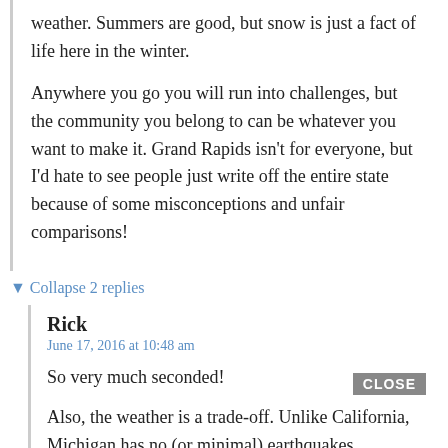weather. Summers are good, but snow is just a fact of life here in the winter.
Anywhere you go you will run into challenges, but the community you belong to can be whatever you want to make it. Grand Rapids isn’t for everyone, but I’d hate to see people just write off the entire state because of some misconceptions and unfair comparisons!
▼ Collapse 2 replies
Rick
June 17, 2016 at 10:48 am
So very much seconded!
Also, the weather is a trade-off. Unlike California, Michigan has no (or minimal) earthquakes, mudslides, droughts, or forest fires.